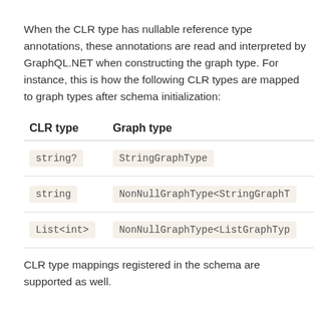When the CLR type has nullable reference type annotations, these annotations are read and interpreted by GraphQL.NET when constructing the graph type. For instance, this is how the following CLR types are mapped to graph types after schema initialization:
| CLR type | Graph type |
| --- | --- |
| string? | StringGraphType |
| string | NonNullGraphType<StringGraphT… |
| List<int> | NonNullGraphType<ListGraphTyp… |
CLR type mappings registered in the schema are supported as well.